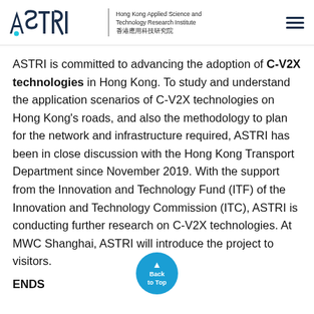[Figure (logo): ASTRI logo with Hong Kong Applied Science and Technology Research Institute text in English and Chinese (香港應用科技研究院), and a hamburger menu icon on the right]
ASTRI is committed to advancing the adoption of C-V2X technologies in Hong Kong. To study and understand the application scenarios of C-V2X technologies on Hong Kong's roads, and also the methodology to plan for the network and infrastructure required, ASTRI has been in close discussion with the Hong Kong Transport Department since November 2019. With the support from the Innovation and Technology Fund (ITF) of the Innovation and Technology Commission (ITC), ASTRI is conducting further research on C-V2X technologies. At MWC Shanghai, ASTRI will introduce the project to visitors.
ENDS